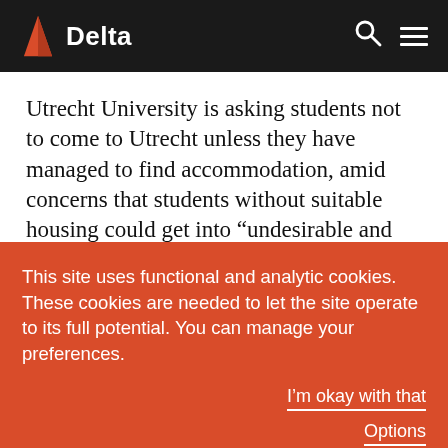Delta
Utrecht University is asking students not to come to Utrecht unless they have managed to find accommodation, amid concerns that students without suitable housing could get into “undesirable and
This site uses functional and analytic cookies. These cookies are needed to let the site operate to its full potential. You can manage your preferences.
I’m okay with that
Options